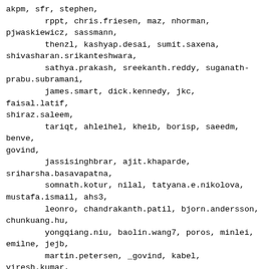akpm, sfr, stephen,
        rppt, chris.friesen, maz, nhorman,
pjwaskiewicz, sassmann,
        thenzl, kashyap.desai, sumit.saxena,
shivasharan.srikanteshwara,
        sathya.prakash, sreekanth.reddy, suganath-
prabu.subramani,
        james.smart, dick.kennedy, jkc, faisal.latif,
shiraz.saleem,
        tariqt, ahleihel, kheib, borisp, saeedm, benve,
govind,
        jassisinghbrar, ajit.khaparde,
sriharsha.basavapatna,
        somnath.kotur, nilal, tatyana.e.nikolova,
mustafa.ismail, ahs3,
        leonro, chandrakanth.patil, bjorn.andersson,
chunkuang.hu,
        yongqiang.niu, baolin.wang7, poros, minlei,
emilne, jejb,
        martin.petersen, _govind, kabel, viresh.kumar,
Tushar.Khandelwal,
        kuba
On 7/20/2021 4:26 PM, Nitesh Narayan Lal wrote:
> The driver uses irq_set_affinity_hint to set the
affinity for the lpfc
> interrupts to a mask corresponding to the local NUMA
node to avoid
> performance overhead on AMD architectures.
>